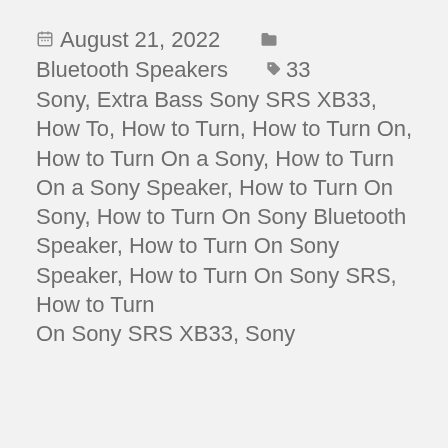August 21, 2022   Bluetooth Speakers   33 Sony, Extra Bass Sony SRS XB33, How To, How to Turn, How to Turn On, How to Turn On a Sony, How to Turn On a Sony Speaker, How to Turn On Sony, How to Turn On Sony Bluetooth Speaker, How to Turn On Sony Speaker, How to Turn On Sony SRS, How to Turn On Sony SRS XB33, Sony